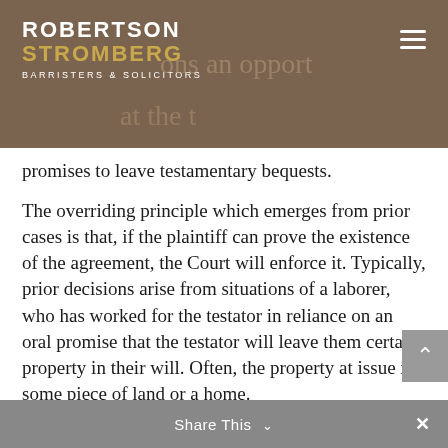ROBERTSON STROMBERG BARRISTERS & SOLICITORS
promises to leave testamentary bequests.
The overriding principle which emerges from prior cases is that, if the plaintiff can prove the existence of the agreement, the Court will enforce it. Typically, prior decisions arise from situations of a laborer, who has worked for the testator in reliance on an oral promise that the testator will leave them certain property in their will. Often, the property at issue is some piece of land or a home.
Share This ∨  ×